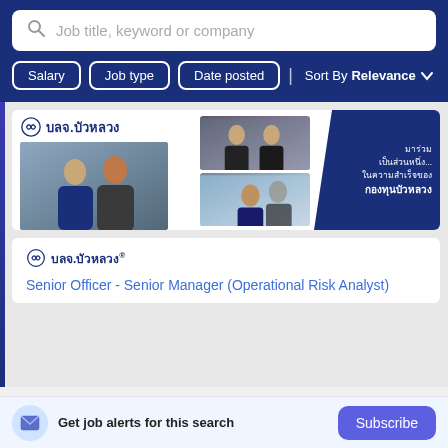Job title, keyword or company
Salary
Job type
Date posted
Sort By Relevance
[Figure (photo): Banner advertisement for บลจ.บัวหลวง (Bualuang Securities) showing employees in professional attire with Thai text meaning 'Come be a part of... the success of Bualuang Fund']
บลจ.บัวหลวง®
Senior Officer - Senior Manager (Operational Risk Analyst)
Get job alerts for this search
Subscribe